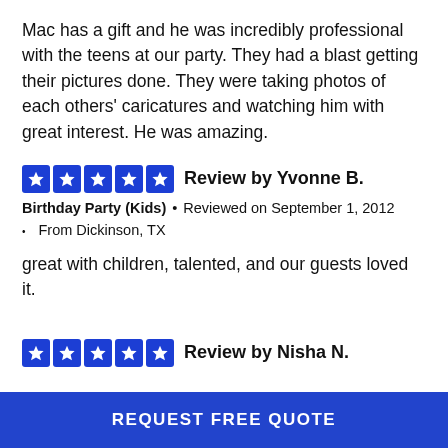Mac has a gift and he was incredibly professional with the teens at our party. They had a blast getting their pictures done. They were taking photos of each others' caricatures and watching him with great interest. He was amazing.
★★★★★ Review by Yvonne B.
Birthday Party (Kids) • Reviewed on September 1, 2012 • From Dickinson, TX
great with children, talented, and our guests loved it.
★★★★★ Review by Nisha N.
REQUEST FREE QUOTE